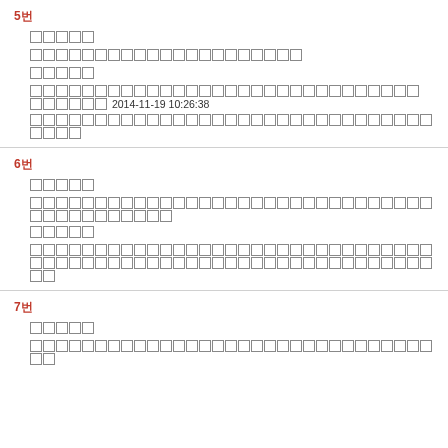5번
□□□□□
□□□□□□□□□□□□□□□□□□□□□
□□□□□
□□□□□□□□□□□□□□□□□□□□□□□□□□□□□□ □□□□□□ 2014-11-19 10:26:38
□□□□□□□□□□□□□□□□□□□□□□□□□□□□□□□□□□□
6번
□□□□□
□□□□□□□□□□□□□□□□□□□□□□□□□□□□□□□□□□□□□□□□
□□□□□
□□□□□□□□□□□□□□□□□□□□□□□□□□□□□□□□□□□□□□□□□□□□□□□□□□□□□□□□□□□□□
7번
□□□□□
□□□□□□□□□□□□□□□□□□□□□□□□□□□□□□□□□